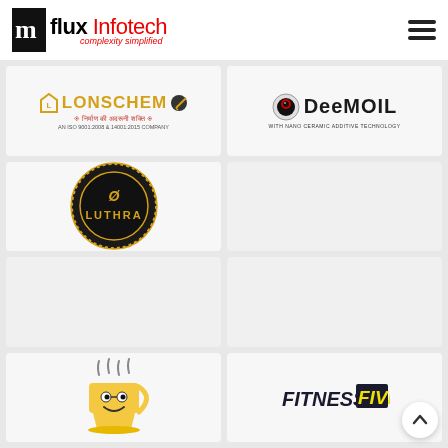[Figure (logo): Influx Infotech logo with tagline 'complexity simplified']
[Figure (logo): LONSCHEM logo with Hindi tagline and ISO certification text]
[Figure (logo): DEEMUIL logo with text 'WITH NANO CERAMIC ADDITIVE TECHNOLOGY']
[Figure (logo): LUTHRA circular black and gold logo]
[Figure (logo): Empty card placeholder]
[Figure (logo): Empty card placeholder]
[Figure (logo): Empty card placeholder]
[Figure (logo): Coffee/food mascot logo with steam]
[Figure (logo): FITNESS FIVE logo in italic font]